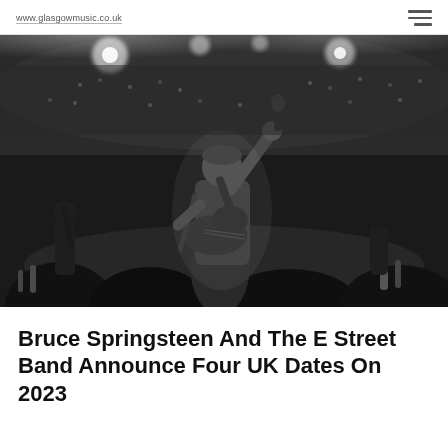www.glasgowmusic.co.uk
[Figure (photo): Black and white concert photograph of a male guitarist/performer on stage, arm raised holding a microphone, playing guitar, with a packed stadium crowd and stage lights visible in the background. Other band members visible in the background.]
Bruce Springsteen And The E Street Band Announce Four UK Dates On 2023